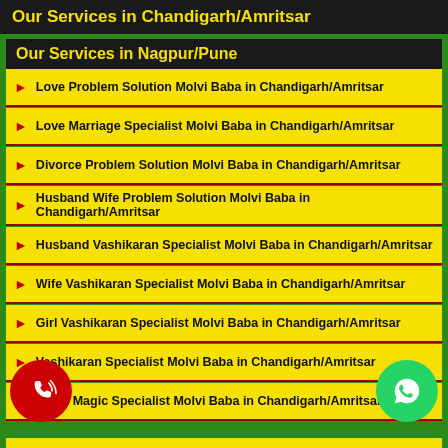Our Services in Chandigarh/Amritsar
Our Services in Nagpur/Pune
Love Problem Solution Molvi Baba in Chandigarh/Amritsar
Love Marriage Specialist Molvi Baba in Chandigarh/Amritsar
Divorce Problem Solution Molvi Baba in Chandigarh/Amritsar
Husband Wife Problem Solution Molvi Baba in Chandigarh/Amritsar
Husband Vashikaran Specialist Molvi Baba in Chandigarh/Amritsar
Wife Vashikaran Specialist Molvi Baba in Chandigarh/Amritsar
Girl Vashikaran Specialist Molvi Baba in Chandigarh/Amritsar
Vashikaran Specialist Molvi Baba in Chandigarh/Amritsar
Black Magic Specialist Molvi Baba in Chandigarh/Amritsar
Love Problem Solution Molvi Baba in Nagpur/Pune
Love Marriage Specialist Molvi Baba in Nagpur/Pune
Divorce Problem Solution Molvi Baba in Nagpur/Pune
Husband Wife Problem Solution Molvi Baba in Nagpur/Pune
Husband Vashikaran Specialist Molvi Baba in Nagpur/Pune
Wife Vashikaran Specialist Molvi Baba in Nagpur/Pune